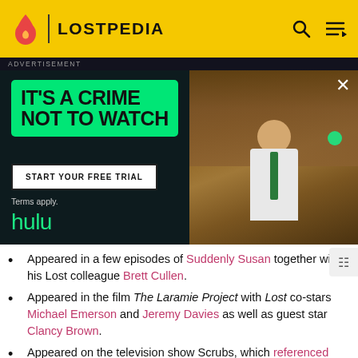LOSTPEDIA
[Figure (screenshot): Hulu advertisement banner: 'IT'S A CRIME NOT TO WATCH' with START YOUR FREE TRIAL button and a photo of a man in white shirt with green tie holding up something, hulu branding in green]
Appeared in a few episodes of Suddenly Susan together with his Lost colleague Brett Cullen.
Appeared in the film The Laramie Project with Lost co-stars Michael Emerson and Jeremy Davies as well as guest star Clancy Brown.
Appeared on the television show Scrubs, which referenced Lost using Apollo Bars.
Portrays Mayor Anthony Garcia in two of Christopher Nolan's Batman films: The Dark Knight and The Dark